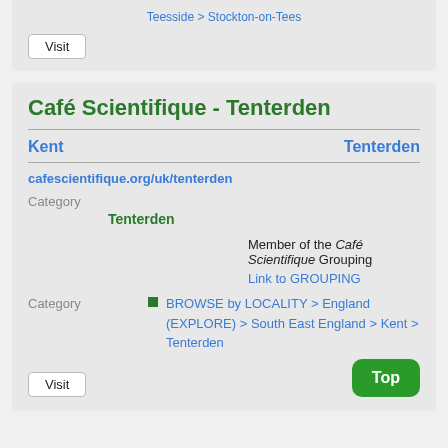Teesside > Stockton-on-Tees
Visit
Café Scientifique - Tenterden
Kent    Tenterden
cafescientifique.org/uk/tenterden
Category
Tenterden
Member of the Café Scientifique Grouping
Link to GROUPING
Category
BROWSE by LOCALITY > England (EXPLORE) > South East England > Kent > Tenterden
Visit
Top